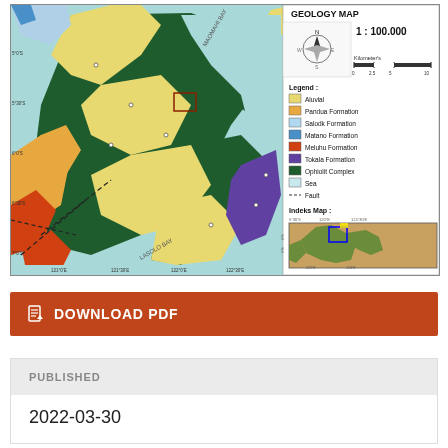[Figure (map): Geology map of a coastal region showing Dalam Bay, Lasolo Bay, Maomahi Bay with legend indicating: Aluvial (yellow), Pandua Formation (orange), Salodk Formation (light blue), Matano Formation (blue), Meluhu Formation (red-orange), Tokala Formation (purple), Ophiolit Complex (dark green), Sea (light blue-gray), Fault (dashed line). Scale 1:100,000. Includes compass rose and index map insert.]
DOWNLOAD PDF
PUBLISHED
2022-03-30